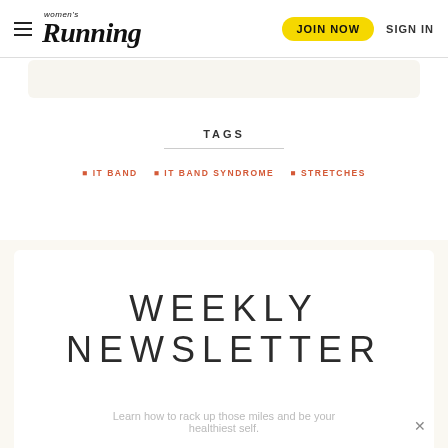Women's Running | JOIN NOW | SIGN IN
IT BAND
IT BAND SYNDROME
STRETCHES
TAGS
WEEKLY NEWSLETTER
Learn how to rack up those miles and be your healthiest self.